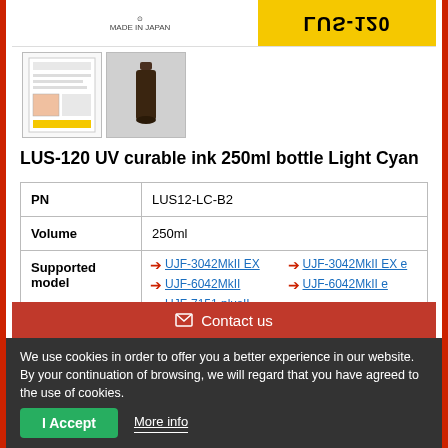[Figure (photo): Top banner with Made in Japan text and Mimaki LUS-120 yellow label (mirrored/upside down)]
[Figure (photo): Two product thumbnails: a document/datasheet thumbnail and a dark bottle photo]
LUS-120 UV curable ink 250ml bottle Light Cyan
| PN | LUS12-LC-B2 |
| Volume | 250ml |
| Supported model | UJF-3042MkII EX | UJF-3042MkII EX e | UJF-6042MkII | UJF-6042MkII e | UJF-7151 plusII |
| Remarks | GREENGUARD Gold Certificate No. 79628-420 |
Contact us
We use cookies in order to offer you a better experience in our website. By your continuation of browsing, we will regard that you have agreed to the use of cookies.
I Accept
More info